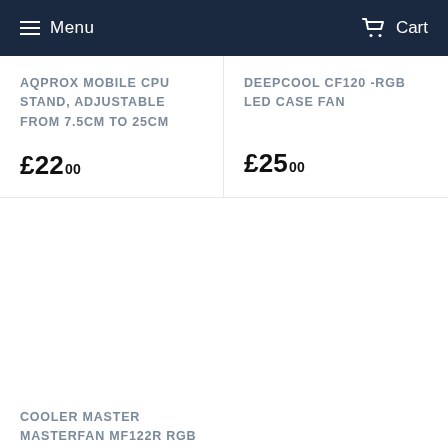Menu | Cart
AQPROX MOBILE CPU STAND, ADJUSTABLE FROM 7.5CM TO 25CM
£22.00
DEEPCOOL CF120 -RGB LED CASE FAN
£25.00
COOLER MASTER MASTERFAN MF122R RGB FAN